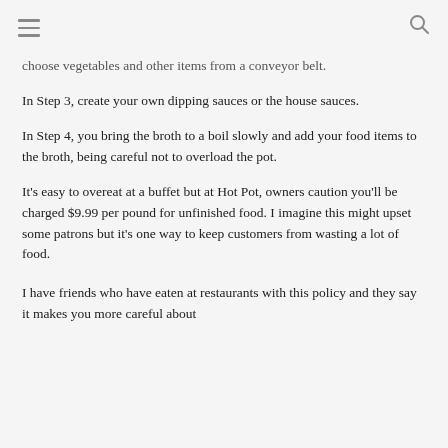≡  🔍
choose vegetables and other items from a conveyor belt.
In Step 3, create your own dipping sauces or the house sauces.
In Step 4, you bring the broth to a boil slowly and add your food items to the broth, being careful not to overload the pot.
It's easy to overeat at a buffet but at Hot Pot, owners caution you'll be charged $9.99 per pound for unfinished food. I imagine this might upset some patrons but it's one way to keep customers from wasting a lot of food.
I have friends who have eaten at restaurants with this policy and they say it makes you more careful about...